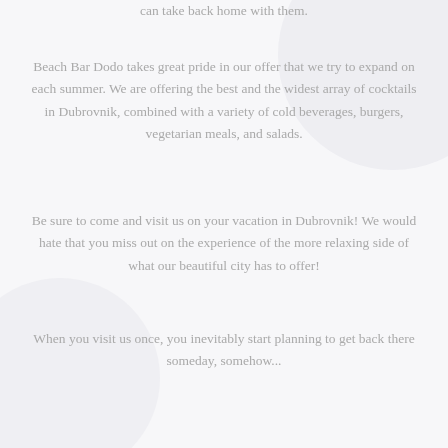can take back home with them.
Beach Bar Dodo takes great pride in our offer that we try to expand on each summer. We are offering the best and the widest array of cocktails in Dubrovnik, combined with a variety of cold beverages, burgers, vegetarian meals, and salads.
Be sure to come and visit us on your vacation in Dubrovnik! We would hate that you miss out on the experience of the more relaxing side of what our beautiful city has to offer!
When you visit us once, you inevitably start planning to get back there someday, somehow...